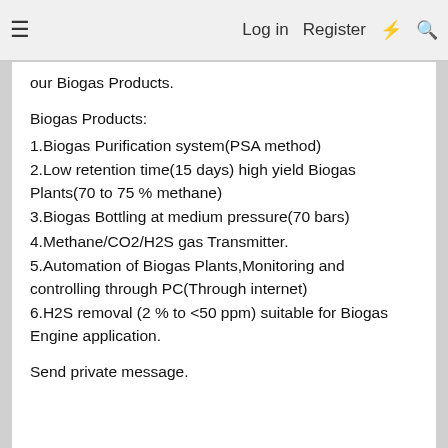≡  Log in  Register  ⚡  🔍
our Biogas Products.
Biogas Products:
1.Biogas Purification system(PSA method)
2.Low retention time(15 days) high yield Biogas Plants(70 to 75 % methane)
3.Biogas Bottling at medium pressure(70 bars)
4.Methane/CO2/H2S gas Transmitter.
5.Automation of Biogas Plants,Monitoring and controlling through PC(Through internet)
6.H2S removal (2 % to <50 ppm) suitable for Biogas Engine application.
Send private message.